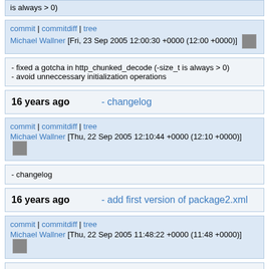is always > 0)
commit | commitdiff | tree
Michael Wallner [Fri, 23 Sep 2005 12:00:30 +0000 (12:00 +0000)]
- fixed a gotcha in http_chunked_decode (-size_t is always > 0)
- avoid unneccessary initialization operations
16 years ago   - changelog
commit | commitdiff | tree
Michael Wallner [Thu, 22 Sep 2005 12:10:44 +0000 (12:10 +0000)]
- changelog
16 years ago   - add first version of package2.xml
commit | commitdiff | tree
Michael Wallner [Thu, 22 Sep 2005 11:48:22 +0000 (11:48 +0000)]
- add first version of package2.xml
- define PURSTR_DEFAULT_SIZE in the header